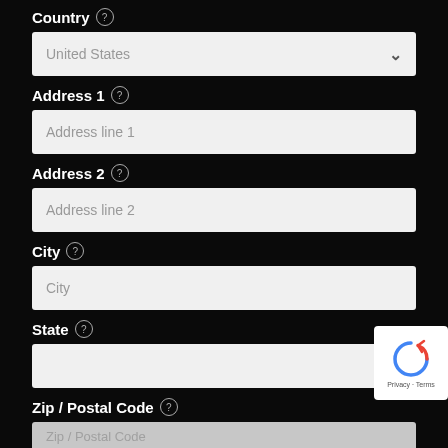Country
United States (dropdown)
Address 1
Address line 1 (placeholder)
Address 2
Address line 2 (placeholder)
City
City (placeholder)
State
(dropdown, empty)
Zip / Postal Code
Zip / Postal Code (placeholder, partially visible)